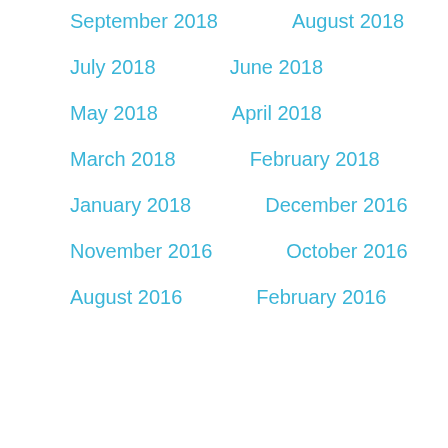September 2018
August 2018
July 2018
June 2018
May 2018
April 2018
March 2018
February 2018
January 2018
December 2016
November 2016
October 2016
August 2016
February 2016